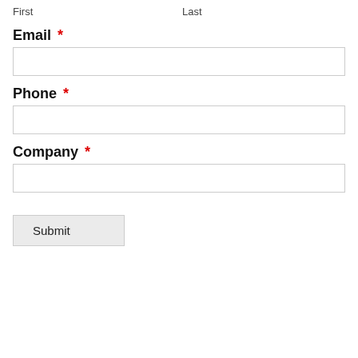First
Last
Email *
Phone *
Company *
Submit